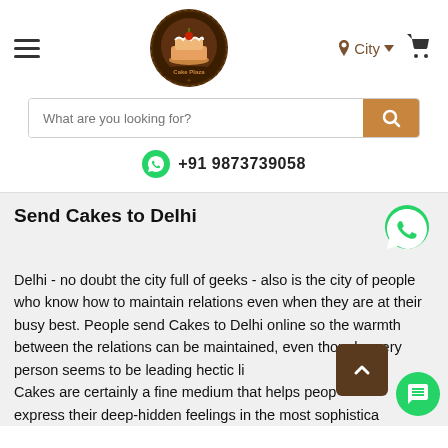[Figure (logo): Cake Plaza logo - circular dark brown logo with cake illustration and ribbon banner]
City
[Figure (other): Search bar with placeholder 'What are you looking for?' and orange search button]
+91 9873739058
Send Cakes to Delhi
Delhi - no doubt the city full of geeks - also is the city of people who know how to maintain relations even when they are at their busy best. People send Cakes to Delhi online so the warmth between the relations can be maintained, even though every person seems to be leading hectic li... Cakes are certainly a fine medium that helps peop... express their deep-hidden feelings in the most sophisticated